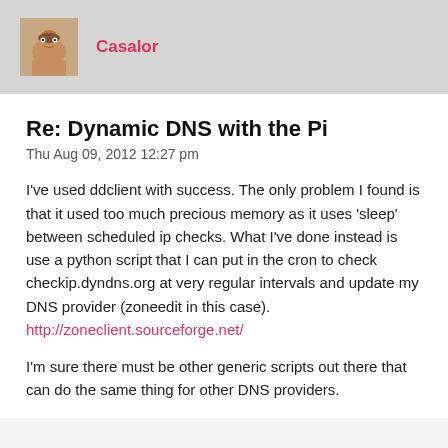[Figure (photo): Avatar photo of user Casalor — a man with short hair]
Casalor
Re: Dynamic DNS with the Pi
Thu Aug 09, 2012 12:27 pm
I've used ddclient with success. The only problem I found is that it used too much precious memory as it uses 'sleep' between scheduled ip checks. What I've done instead is use a python script that I can put in the cron to check checkip.dyndns.org at very regular intervals and update my DNS provider (zoneedit in this case).
http://zoneclient.sourceforge.net/
I'm sure there must be other generic scripts out there that can do the same thing for other DNS providers.